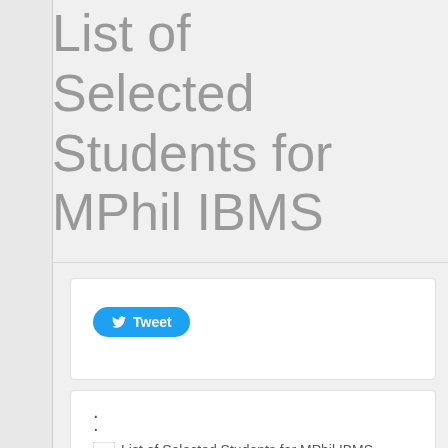List of Selected Students for MPhil IBMS
[Figure (screenshot): Tweet button widget box with Twitter bird icon and 'Tweet' label on a blue rounded button]
[Figure (screenshot): File attachment box showing a PDF icon and link text 'List of Selected Students for MPhil IBMS']